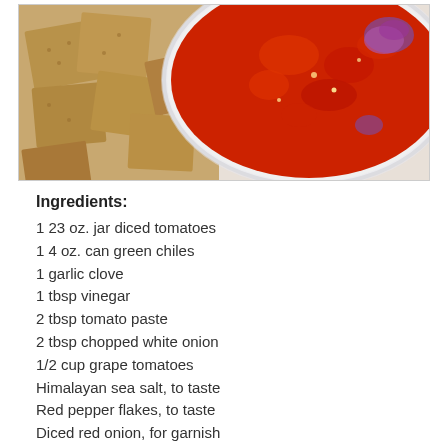[Figure (photo): A bowl of red salsa/tomato dip with diced red onion visible on top, surrounded by square wheat/grain crackers on a white plate, viewed from above.]
Ingredients:
1 23 oz. jar diced tomatoes
1 4 oz. can green chiles
1 garlic clove
1 tbsp vinegar
2 tbsp tomato paste
2 tbsp chopped white onion
1/2 cup grape tomatoes
Himalayan sea salt, to taste
Red pepper flakes, to taste
Diced red onion, for garnish
Directions:
1. Add all ingredients to blender.